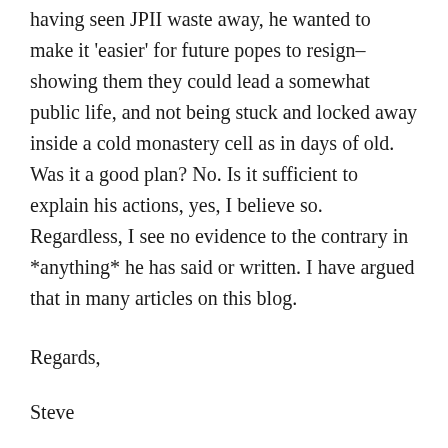having seen JPII waste away, he wanted to make it 'easier' for future popes to resign–showing them they could lead a somewhat public life, and not being stuck and locked away inside a cold monastery cell as in days of old. Was it a good plan? No. Is it sufficient to explain his actions, yes, I believe so. Regardless, I see no evidence to the contrary in *anything* he has said or written. I have argued that in many articles on this blog.
Regards,
Steve
★ Like
Reply